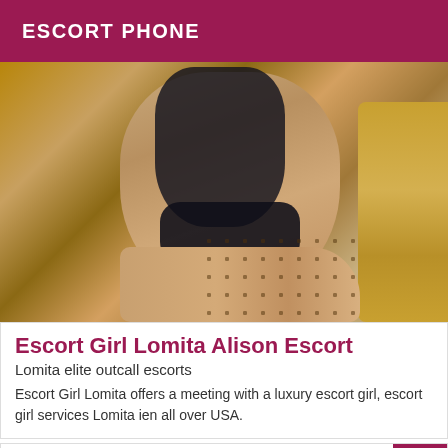ESCORT PHONE
[Figure (photo): A woman in black lingerie seated on a sofa with floral and yellow upholstery]
Escort Girl Lomita Alison Escort
Lomita elite outcall escorts
Escort Girl Lomita offers a meeting with a luxury escort girl, escort girl services Lomita ien all over USA.
VIP